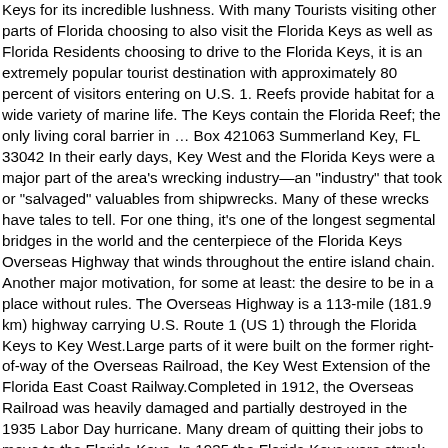Keys for its incredible lushness. With many Tourists visiting other parts of Florida choosing to also visit the Florida Keys as well as Florida Residents choosing to drive to the Florida Keys, it is an extremely popular tourist destination with approximately 80 percent of visitors entering on U.S. 1. Reefs provide habitat for a wide variety of marine life. The Keys contain the Florida Reef; the only living coral barrier in … Box 421063 Summerland Key, FL 33042 In their early days, Key West and the Florida Keys were a major part of the area's wrecking industry—an "industry" that took or "salvaged" valuables from shipwrecks. Many of these wrecks have tales to tell. For one thing, it's one of the longest segmental bridges in the world and the centerpiece of the Florida Keys Overseas Highway that winds throughout the entire island chain. Another major motivation, for some at least: the desire to be in a place without rules. The Overseas Highway is a 113-mile (181.9 km) highway carrying U.S. Route 1 (US 1) through the Florida Keys to Key West.Large parts of it were built on the former right-of-way of the Overseas Railroad, the Key West Extension of the Florida East Coast Railway.Completed in 1912, the Overseas Railroad was heavily damaged and partially destroyed in the 1935 Labor Day hurricane. Many dream of quitting their jobs to move to the Florida Keys. In 1935 the Florida Keys were struck by one of the worst hurricanes ever to hit the United States. In total there are 42 bridges connecting the islands; the Seven Mile Bridge is the longest. Although if you are a film buff, then you may like to pay a